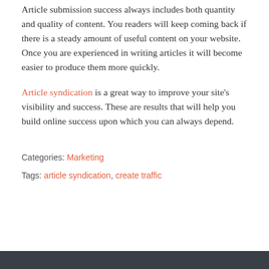Article submission success always includes both quantity and quality of content. You readers will keep coming back if there is a steady amount of useful content on your website. Once you are experienced in writing articles it will become easier to produce them more quickly.
Article syndication is a great way to improve your site's visibility and success. These are results that will help you build online success upon which you can always depend.
Categories: Marketing
Tags: article syndication, create traffic